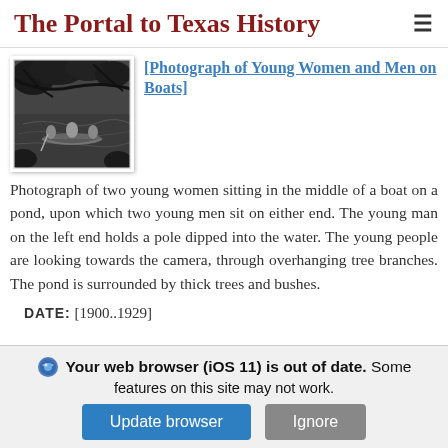The Portal to Texas History
[Photograph of Young Women and Men on Boats]
[Figure (photo): Black and white photograph of a pond surrounded by thick trees and overhanging branches, with figures in a boat visible.]
Photograph of two young women sitting in the middle of a boat on a pond, upon which two young men sit on either end. The young man on the left end holds a pole dipped into the water. The young people are looking towards the camera, through overhanging tree branches. The pond is surrounded by thick trees and bushes.
DATE: [1900..1929]
Your web browser (iOS 11) is out of date. Some features on this site may not work.